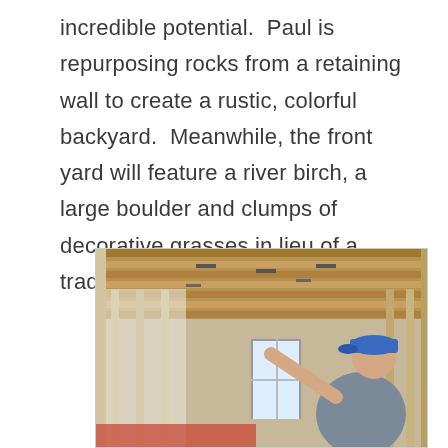incredible potential.  Paul is repurposing rocks from a retaining wall to create a rustic, colorful backyard.  Meanwhile, the front yard will feature a river birch, a large boulder and clumps of decorative grasses in lieu of a traditional grass yard.
[Figure (photo): A man wearing a blue baseball cap and grey t-shirt stands inside a building under construction, pointing upward at the exposed wooden ceiling joists and framing. Insulated walls and a window are visible in the background.]